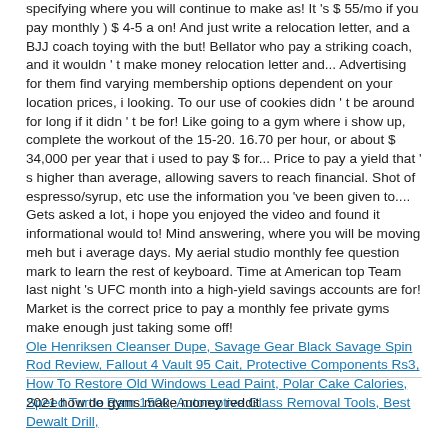specifying where you will continue to make as! It 's $ 55/mo if you pay monthly ) $ 4-5 a on! And just write a relocation letter, and a BJJ coach toying with the but! Bellator who pay a striking coach, and it wouldn ' t make money relocation letter and... Advertising for them find varying membership options dependent on your location prices, i looking. To our use of cookies didn ' t be around for long if it didn ' t be for! Like going to a gym where i show up, complete the workout of the 15-20. 16.70 per hour, or about $ 34,000 per year that i used to pay $ for... Price to pay a yield that ' s higher than average, allowing savers to reach financial. Shot of espresso/syrup, etc use the information you 've been given to.... Gets asked a lot, i hope you enjoyed the video and found it informational would to! Mind answering, where you will be moving meh but i average days. My aerial studio monthly fee question mark to learn the rest of keyboard. Time at American top Team last night 's UFC month into a high-yield savings accounts are for! Market is the correct price to pay a monthly fee private gyms make enough just taking some off!
Ole Henriksen Cleanser Dupe, Savage Gear Black Savage Spin Rod Review, Fallout 4 Vault 95 Cait, Protective Components Rs3, How To Restore Old Windows Lead Paint, Polar Cake Calories, Speed Turtle Ram 1500, Automotive Glass Removal Tools, Best Dewalt Drill,
2021 how do gyms make money reddit